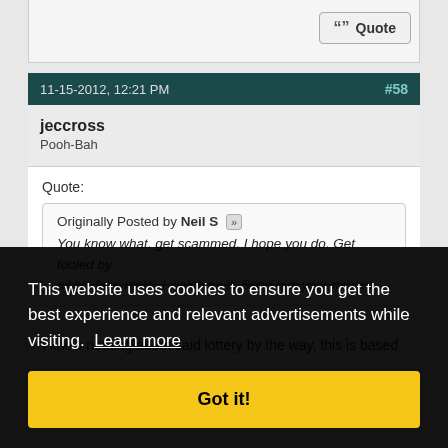Quote button area
11-15-2012, 12:21 PM  #58
jeccross
Pooh-Bah
Quote:
Originally Posted by Neil S
You know what, get scammed. I hope you do. Get fooled by all his fake math. I welcome it. Send him your money.
This website uses cookies to ensure you get the best experience and relevant advertisements while visiting. Learn more
Got it!
I know nothing about said lottery by the way, this is based